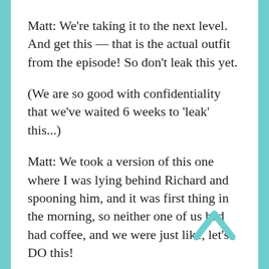Matt: We're taking it to the next level. And get this — that is the actual outfit from the episode! So don't leak this yet.
(We are so good with confidentiality that we've waited 6 weeks to 'leak' this...)
Matt: We took a version of this one where I was lying behind Richard and spooning him, and it was first thing in the morning, so neither one of us had had coffee, and we were just like, let's DO this!
Us: (appreciatively) The things you do for fandom...
Matt: I think it goes to this — I've made up the most simple saying to live by in life, I don't know if it's been said before, but I say it all the